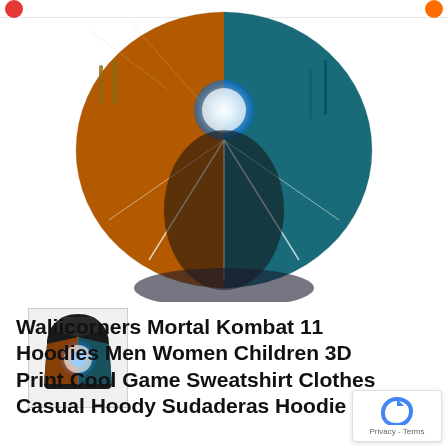[Figure (photo): Main product image showing a circular/hoodie-shaped artwork featuring Mortal Kombat 11 characters with glowing orb, split between orange/fire and teal/ice color schemes]
[Figure (photo): Thumbnail image of the hoodie product showing front view with Mortal Kombat 11 artwork]
Waliicorners Mortal Kombat 11 Hoodies Men Women Children 3D Print Cool Game Sweatshirt Clothes Casual Hoody Sudaderas Hoodie